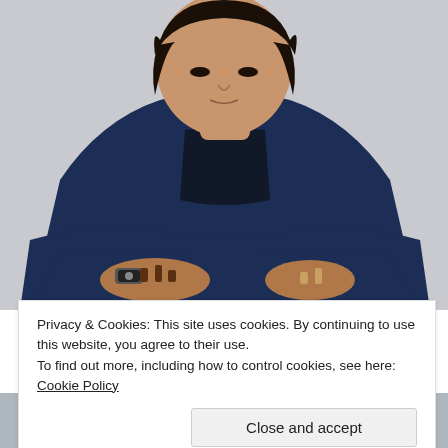[Figure (photo): Young Asian man in a navy blue blazer leaning over a chess board, holding chess pieces, wearing a watch, looking downward with concentration. Photo taken in a light gray background setting.]
Privacy & Cookies: This site uses cookies. By continuing to use this website, you agree to their use.
To find out more, including how to control cookies, see here: Cookie Policy
[Figure (photo): Partial photo at bottom of page showing another person, cropped.]